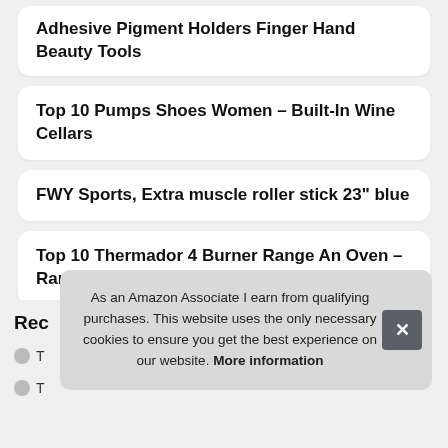Adhesive Pigment Holders Finger Hand Beauty Tools
Top 10 Pumps Shoes Women – Built-In Wine Cellars
FWY Sports, Extra muscle roller stick 23" blue
Top 10 Thermador 4 Burner Range An Oven – Range Replacement Knobs
Rec
T
T
As an Amazon Associate I earn from qualifying purchases. This website uses the only necessary cookies to ensure you get the best experience on our website. More information